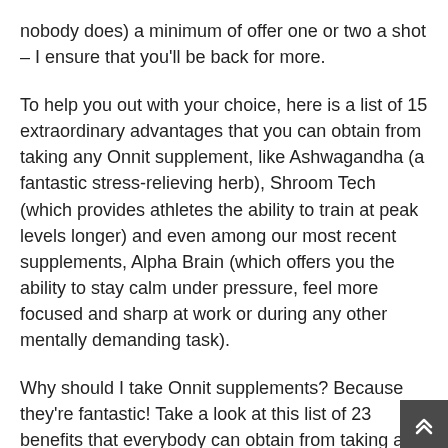nobody does) a minimum of offer one or two a shot – I ensure that you'll be back for more.
To help you out with your choice, here is a list of 15 extraordinary advantages that you can obtain from taking any Onnit supplement, like Ashwagandha (a fantastic stress-relieving herb), Shroom Tech (which provides athletes the ability to train at peak levels longer) and even among our most recent supplements, Alpha Brain (which offers you the ability to stay calm under pressure, feel more focused and sharp at work or during any other mentally demanding task).
Why should I take Onnit supplements? Because they're fantastic! Take a look at this list of 23 benefits that everybody can obtain from taking any among our items: